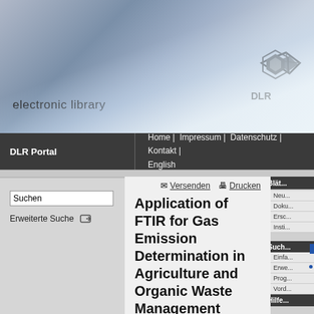electronic library — DLR Electronic Library website header
DLR Portal | Home | Impressum | Datenschutz | Kontakt | English
Suchen
Erweiterte Suche
Application of FTIR for Gas Emission Determination in Agriculture and Organic Waste Management
ASCII Citation ▾
Exportieren
Gronauer, A.(1) und Depta, G.(1) und Neser, S.(1) und Schaefer, K.(2) und Haus, R. und Sussmann, R.(2) (1996) Application of FTIR for Gas Emission Determination in Agriculture and Organic Waste Management. In: Proceedings of the 89th Annual Meeting & Exhibition of Air and Waste Management Association (AWMA), Nashville, Tennesse, June 23-28 1996.
Dieses Archiv kann nicht den Volltext zur
Versenden
Drucken
Blät...
Neu...
Doku...
Ersc...
Insti...
Such...
Einfa...
Erwe...
Prog...
Vord...
RSS...
Hilfe...